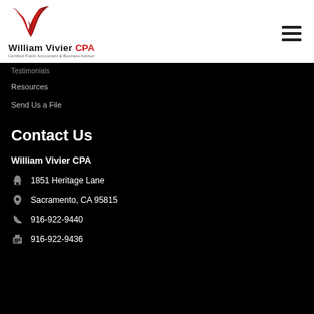[Figure (logo): William Vivier CPA logo with stylized red and dark W mark, company name 'William Vivier CPA' and tagline 'Certified Public Accountant & Business Advisor']
Resources
Send Us a File
Contact Us
William Vivier CPA
1851 Heritage Lane
Sacramento, CA 95815
916-922-9440
916-922-9436